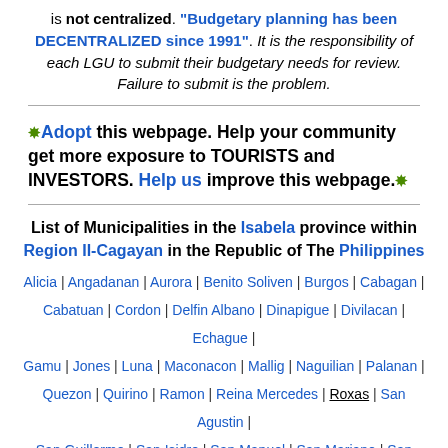is not centralized. "Budgetary planning has been DECENTRALIZED since 1991". It is the responsibility of each LGU to submit their budgetary needs for review. Failure to submit is the problem.
❊Adopt this webpage. Help your community get more exposure to TOURISTS and INVESTORS. Help us improve this webpage.❊
List of Municipalities in the Isabela province within Region II-Cagayan in the Republic of The Philippines
Alicia | Angadanan | Aurora | Benito Soliven | Burgos | Cabagan | Cabatuan | Cordon | Delfin Albano | Dinapigue | Divilacan | Echague | Gamu | Jones | Luna | Maconacon | Mallig | Naguilian | Palanan | Quezon | Quirino | Ramon | Reina Mercedes | Roxas | San Agustin | San Guillermo | San Isidro | San Manuel | San Mariano | San Mateo | San Pablo | Santa Maria | Santo Tomas | Tumauini